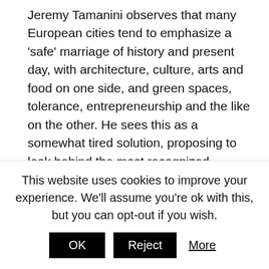Jeremy Tamanini observes that many European cities tend to emphasize a 'safe' marriage of history and present day, with architecture, culture, arts and food on one side, and green spaces, tolerance, entrepreneurship and the like on the other. He sees this as a somewhat tired solution, proposing to look behind the most recognized elements and finding new, exciting routes that can reflect cultural diversity even better.
Joao Freire, emphasizes the importance of guaranteeing the quality of life of the local people, making sure they are not forced to leave their neighborhoods to make room for tourists or short-term residents. Therefore, he finds it
This website uses cookies to improve your experience. We'll assume you're ok with this, but you can opt-out if you wish.